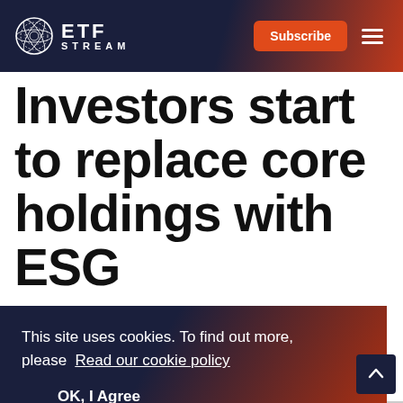ETF STREAM
Investors start to replace core holdings with ESG
This site uses cookies. To find out more, please Read our cookie policy
OK, I Agree
into